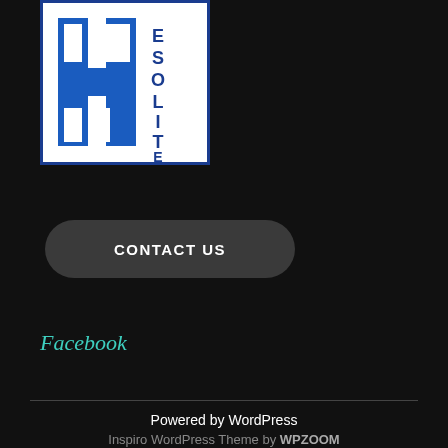[Figure (logo): Blue and white H logo with text ESOLITE on the right side, on a white background with blue border]
CONTACT US
Facebook
Powered by WordPress
Inspiro WordPress Theme by WPZOOM